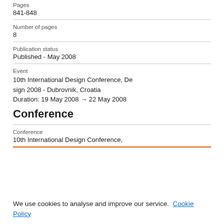Pages
841-848
Number of pages
8
Publication status
Published - May 2008
Event
10th International Design Conference, Design 2008 - Dubrovnik, Croatia
Duration: 19 May 2008 → 22 May 2008
Conference
Conference
10th International Design Conference,
We use cookies to analyse and improve our service. Cookie Policy